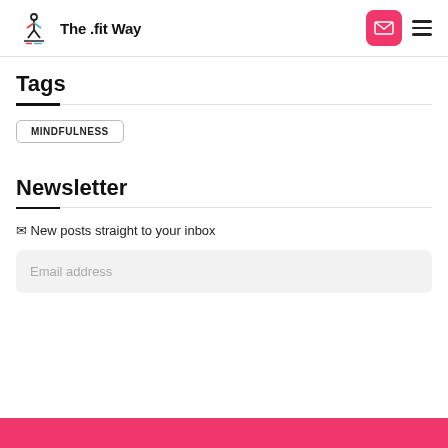The .fit Way
Tags
MINDFULNESS
Newsletter
✉ New posts straight to your inbox
Email address